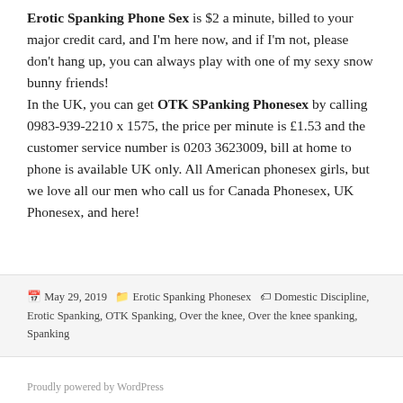Erotic Spanking Phone Sex is $2 a minute, billed to your major credit card, and I'm here now, and if I'm not, please don't hang up, you can always play with one of my sexy snow bunny friends! In the UK, you can get OTK SPanking Phonesex by calling 0983-939-2210 x 1575, the price per minute is £1.53 and the customer service number is 0203 3623009, bill at home to phone is available UK only. All American phonesex girls, but we love all our men who call us for Canada Phonesex, UK Phonesex, and here!
Posted May 29, 2019  Categories Erotic Spanking Phonesex  Tags Domestic Discipline, Erotic Spanking, OTK Spanking, Over the knee, Over the knee spanking, Spanking
Proudly powered by WordPress